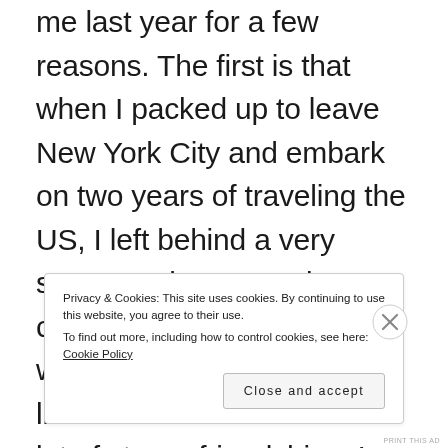me last year for a few reasons. The first is that when I packed up to leave New York City and embark on two years of traveling the US, I left behind a very strong and empowering community of friends. Even when I ended up in places like Seattle where I made a lot of strong friendships, I found it difficult to appreciate them b... m...
Privacy & Cookies: This site uses cookies. By continuing to use this website, you agree to their use.
To find out more, including how to control cookies, see here: Cookie Policy